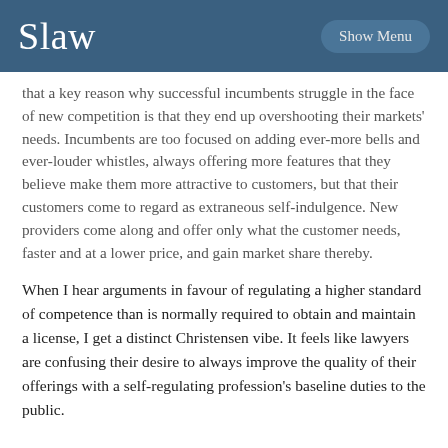Slaw | Show Menu
that a key reason why successful incumbents struggle in the face of new competition is that they end up overshooting their markets' needs. Incumbents are too focused on adding ever-more bells and ever-louder whistles, always offering more features that they believe make them more attractive to customers, but that their customers come to regard as extraneous self-indulgence. New providers come along and offer only what the customer needs, faster and at a lower price, and gain market share thereby.
When I hear arguments in favour of regulating a higher standard of competence than is normally required to obtain and maintain a license, I get a distinct Christensen vibe. It feels like lawyers are confusing their desire to always improve the quality of their offerings with a self-regulating profession's baseline duties to the public.